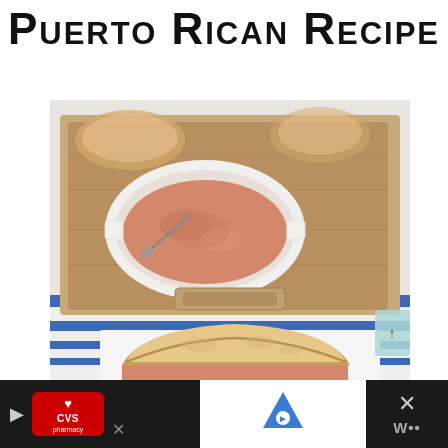Puerto Rican Recipe
[Figure (photo): A food photo showing a sandwich made with crusty bread filled with an orange-pink spread (possibly a Puerto Rican chicken or tuna salad), held up in front of a wooden serving tray on a blue and white striped cloth. In the background, a white oval baking dish contains the orange-pink creamy filling, and sliced bread is visible on the tray.]
[Figure (other): Advertisement bar at the bottom: CVS Pharmacy logo on dark background on left, Waze navigation icon in center on white background, close button (X) on dark background on right with W dots logo]